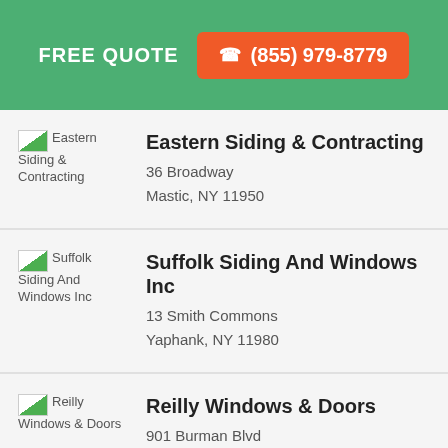FREE QUOTE  ☎ (855) 979-8779
Eastern Siding & Contracting
36 Broadway
Mastic, NY 11950
Suffolk Siding And Windows Inc
13 Smith Commons
Yaphank, NY 11980
Reilly Windows & Doors
901 Burman Blvd
Calverton, NY 11933